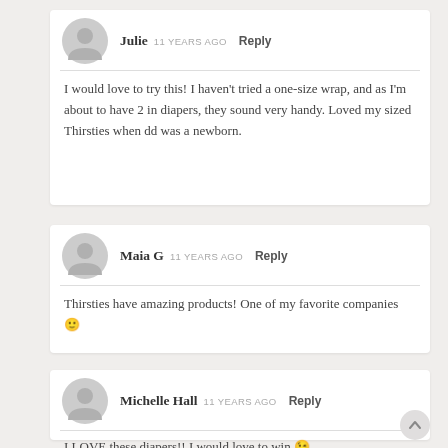Julie  11 YEARS AGO  Reply
I would love to try this! I haven't tried a one-size wrap, and as I'm about to have 2 in diapers, they sound very handy. Loved my sized Thirsties when dd was a newborn.
Maia G  11 YEARS AGO  Reply
Thirsties have amazing products! One of my favorite companies 🙂
Michelle Hall  11 YEARS AGO  Reply
I LOVE these diapers!! I would love to win 😉